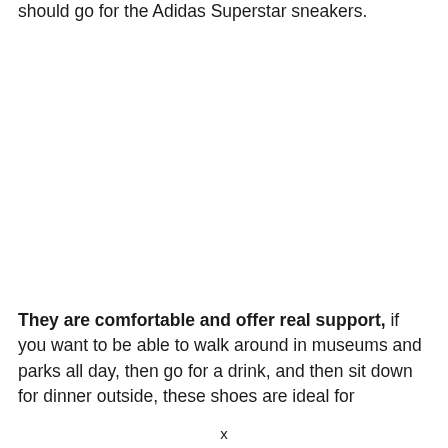should go for the Adidas Superstar sneakers.
They are comfortable and offer real support, if you want to be able to walk around in museums and parks all day, then go for a drink, and then sit down for dinner outside, these shoes are ideal for
x